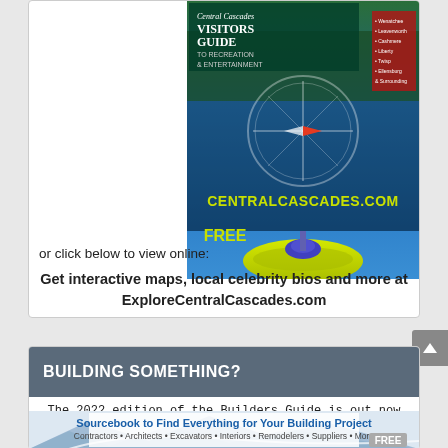[Figure (illustration): Visitors Guide to Recreation & Entertainment cover image showing a kayak on a blue lake with forest and mountains, text 'CentralCascades.com' and 'FREE', compass rose overlay]
or click below to view online:
Get interactive maps, local celebrity bios and more at ExploreCentralCascades.com
BUILDING SOMETHING?
The 2022 edition of the Builders Guide is out now - look for it on local stands, or see the entire guide online.
[Figure (illustration): Builders Guide book cover showing 'Sourcebook to Find Everything for Your Building Project, Contractors • Architects • Excavators • Interiors • Remodelers • Suppliers • More' with mountain scenery and FREE label]